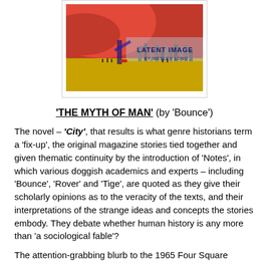[Figure (illustration): Book cover image showing a red futuristic scene with text 'LATENT IMAGE BY WESLEY LONG' visible, displayed in a thin-bordered box]
'THE MYTH OF MAN' (by 'Bounce')
The novel – 'City', that results is what genre historians term a 'fix-up', the original magazine stories tied together and given thematic continuity by the introduction of 'Notes', in which various doggish academics and experts – including 'Bounce', 'Rover' and 'Tige', are quoted as they give their scholarly opinions as to the veracity of the texts, and their interpretations of the strange ideas and concepts the stories embody. They debate whether human history is any more than 'a sociological fable'?
The attention-grabbing blurb to the 1965 Four Square